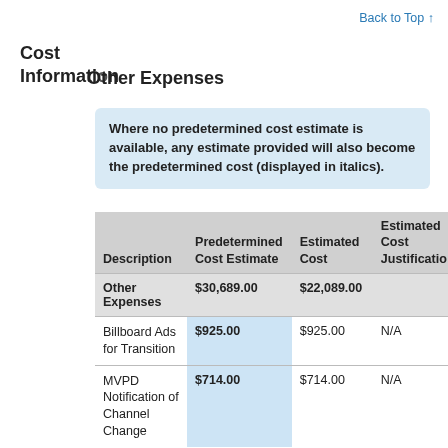Back to Top ↑
Cost Information
Other Expenses
Where no predetermined cost estimate is available, any estimate provided will also become the predetermined cost (displayed in italics).
| Description | Predetermined Cost Estimate | Estimated Cost | Estimated Cost Justification |
| --- | --- | --- | --- |
| Other Expenses | $30,689.00 | $22,089.00 |  |
| Billboard Ads for Transition | $925.00 | $925.00 | N/A |
| MVPD Notification of Channel Change | $714.00 | $714.00 | N/A |